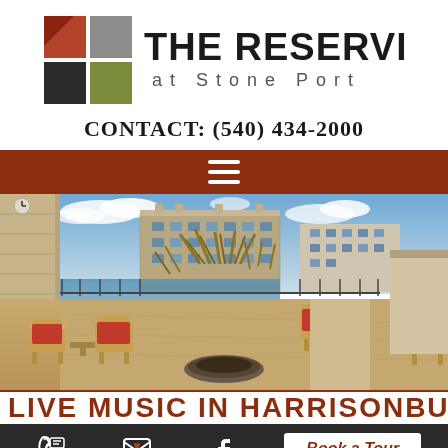[Figure (logo): The Reserve at Stone Port apartment logo with geometric square icon (red, gray, dark brown, olive green quadrants) and stylized text]
CONTACT: (540) 434-2000
[Figure (other): Dark red navigation menu bar with white hamburger menu icon (three horizontal lines)]
[Figure (photo): Outdoor patio area of The Reserve at Stone Port apartments with Adirondack chairs with red cushions around a fire pit, ornamental grasses, pool in background, and large multi-story apartment buildings visible in the background under a partly cloudy sky]
LIVE MUSIC IN HARRISONBURG
[Figure (other): Bottom action bar with dark background containing phone icon, email icon, Facebook icon, and a Book a Tour button in italic bold red text on white background]